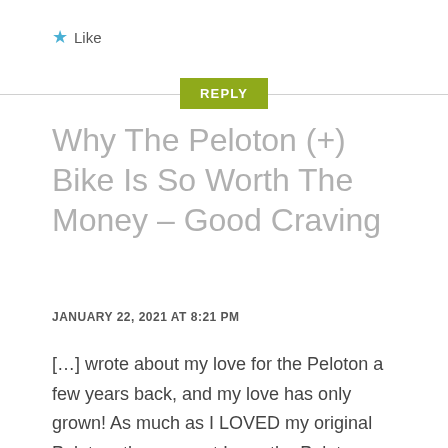★ Like
REPLY
Why The Peloton (+) Bike Is So Worth The Money – Good Craving
JANUARY 22, 2021 AT 8:21 PM
[…] wrote about my love for the Peloton a few years back, and my love has only grown! As much as I LOVED my original Peloton, the moment I saw the Peloton+ […]